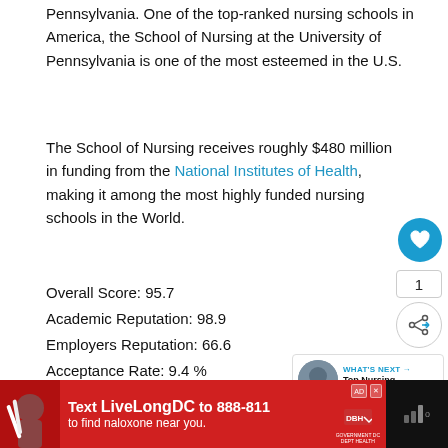Pennsylvania. One of the top-ranked nursing schools in America, the School of Nursing at the University of Pennsylvania is one of the most esteemed in the U.S.
The School of Nursing receives roughly $480 million in funding from the National Institutes of Health, making it among the most highly funded nursing schools in the World.
Overall Score: 95.7
Academic Reputation: 98.9
Employers Reputation: 66.6
Acceptance Rate: 9.4 %
Country Ranking: 1
World Rank: 1
Tuition & Fee $ 49,536 USD
[Figure (other): Advertisement banner: Text LiveLongDC to 888-811 to find naloxone near you.]